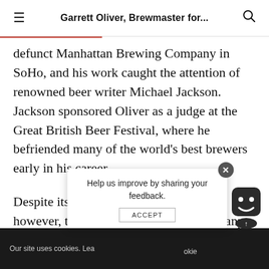Garrett Oliver, Brewmaster for...
defunct Manhattan Brewing Company in SoHo, and his work caught the attention of renowned beer writer Michael Jackson. Jackson sponsored Oliver as a judge at the Great British Beer Festival, where he befriended many of the world's best brewers early in his career.
Despite its reputation for solid beers, however, the Manhattan Brewing Company foundered, and Brooklyn Brewery persuaded Oliver to join their team as a brewmaster and partner. With Oliver on board, they
Our site uses cookies. Learn more about cookies · ACCEPT
Help us improve by sharing your feedback.